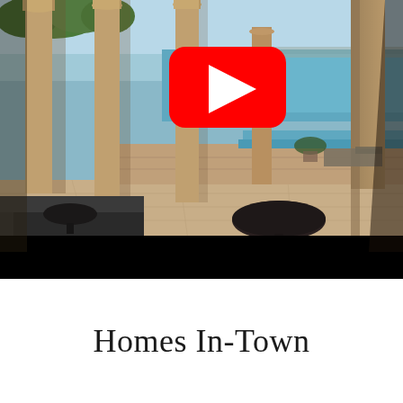[Figure (photo): A luxury outdoor terrace or patio with tall stone columns, lounge furniture, an infinity pool, and a scenic view of a large body of water (lake or bay) under a clear blue sky. A YouTube play button overlay is visible in the upper center of the image. The lower portion of the image has a black letterbox bar.]
Homes In-Town